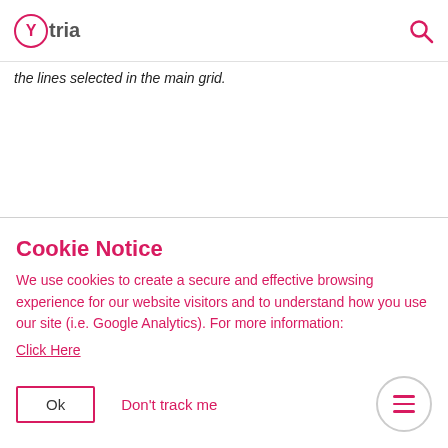Ytria [logo] [search icon]
the lines selected in the main grid.
Cookie Notice
We use cookies to create a secure and effective browsing experience for our website visitors and to understand how you use our site (i.e. Google Analytics). For more information:
Click Here
Ok   Don't track me